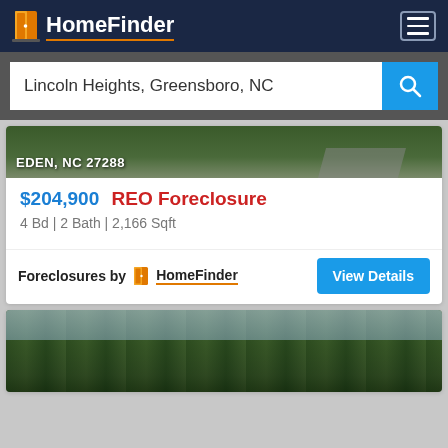HomeFinder
Lincoln Heights, Greensboro, NC
[Figure (photo): Partial property photo showing road and grass with text overlay EDEN, NC 27288]
$204,900 REO Foreclosure
4 Bd | 2 Bath | 2,166 Sqft
Foreclosures by HomeFinder
View Details
[Figure (photo): Property photo showing trees and wooded area]